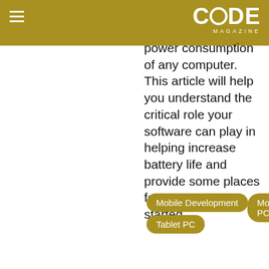CODE Magazine
power consumption of any computer. This article will help you understand the critical role your software can play in helping increase battery life and provide some places for you to get started.
Mobile Development
Mobile PC
Tablet PC
Data Access for Partially Connected Applications
We use cookies to make this site work properly. For more information, see our Privacy Policy. Do you agree to us using cookies? Sure, I know how this works! - No way. Get me out of here!